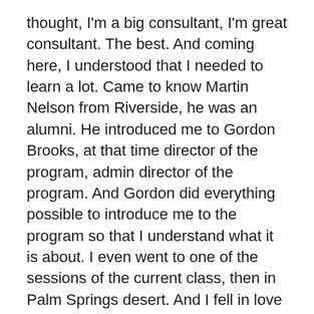thought, I'm a big consultant, I'm great consultant. The best. And coming here, I understood that I needed to learn a lot. Came to know Martin Nelson from Riverside, he was an alumni. He introduced me to Gordon Brooks, at that time director of the program, admin director of the program. And Gordon did everything possible to introduce me to the program so that I understand what it is about. I even went to one of the sessions of the current class, then in Palm Springs desert. And I fell in love with the whole program, did what I need to do, got enrolled, got partial scholarship. Gordon helped me find job, temporary job with Coca-Cola Atlanta.
But when the universe is not helping you, it couldn't happen. All this couldn't happen because of my visa limitations. In that time I had a J-2 visa and had to come back to Bulgaria for two years. And I was so disappointed, because as if I has climbed the, let's say, one of the Himalayas peaks, and after that I just saw the world and